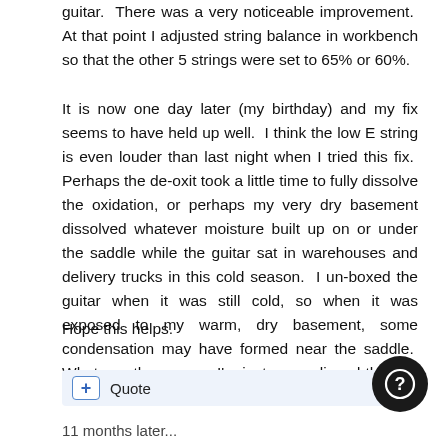guitar.  There was a very noticeable improvement.  At that point I adjusted string balance in workbench so that the other 5 strings were set to 65% or 60%.
It is now one day later (my birthday) and my fix seems to have held up well.  I think the low E string is even louder than last night when I tried this fix.  Perhaps the de-oxit took a little time to fully dissolve the oxidation, or perhaps my very dry basement dissolved whatever moisture built up on or under the saddle while the guitar sat in warehouses and delivery trucks in this cold season.  I un-boxed the guitar when it was still cold, so when it was exposed to my warm, dry basement, some condensation may have formed near the saddle.  Whatever the reason, I'm just very relieved that the low E is working much better.
Hope this helps.
11 months later...